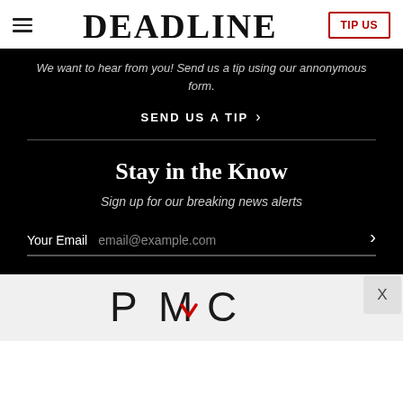DEADLINE | TIP US
We want to hear from you! Send us a tip using our annonymous form.
SEND US A TIP >
Stay in the Know
Sign up for our breaking news alerts
Your Email  email@example.com  >
[Figure (logo): PMC logo in black with a red check mark accent]
X